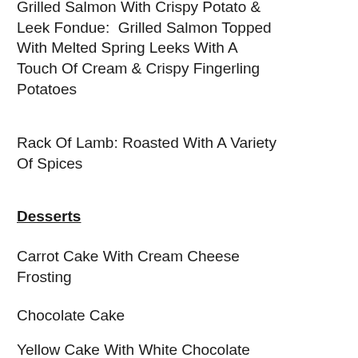Grilled Salmon With Crispy Potato & Leek Fondue:  Grilled Salmon Topped With Melted Spring Leeks With A Touch Of Cream & Crispy Fingerling Potatoes
Rack Of Lamb: Roasted With A Variety Of Spices
Desserts
Carrot Cake With Cream Cheese Frosting
Chocolate Cake
Yellow Cake With White Chocolate